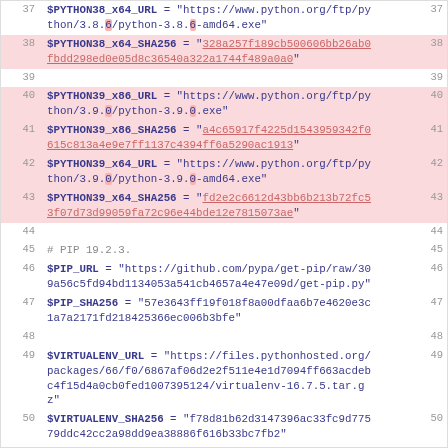37  $PYTHON38_x64_URL = "https://www.python.org/ftp/python/3.8.6/python-3.8.6-amd64.exe"
38  $PYTHON38_x64_SHA256 = "328a257f189cb500606bb26ab0fbdd298ed0e05d8c36540a322a1744f489a0a0"
39  (empty)
40  $PYTHON39_x86_URL = "https://www.python.org/ftp/python/3.9.0/python-3.9.0.exe"
41  $PYTHON39_x86_SHA256 = "a4c65917f4225d1543959342f0615c813a4e9e7ff1137c4394ff6a5290ac1913"
42  $PYTHON39_x64_URL = "https://www.python.org/ftp/python/3.9.0/python-3.9.0-amd64.exe"
43  $PYTHON39_x64_SHA256 = "fd2e2c6612d43bb6b213b72fc53f07d73d99059fa72c96e44bde12e7815073ae"
44  (empty)
45  # PIP 19.2.3.
46  $PIP_URL = "https://github.com/pypa/get-pip/raw/309a56c5fd94bd1134053a541cb4657a4e47e09d/get-pip.py"
47  $PIP_SHA256 = "57e3643ff19f018f8a00dfaa6b7e4620e3c1a7a2171fd218425366ec006b3bfe"
48  (empty)
49  $VIRTUALENV_URL = "https://files.pythonhosted.org/packages/66/f0/6867af06d2e2f511e4e1d7094ff663acdeb c4f15d4a0cb0fed1007395124/virtualenv-16.7.5.tar.gz"
50  $VIRTUALENV_SHA256 = "f78d81b62d3147396ac33fc9d77579ddc42cc2a98dd9ea38886f616b33bc7fb2"
51  (empty)